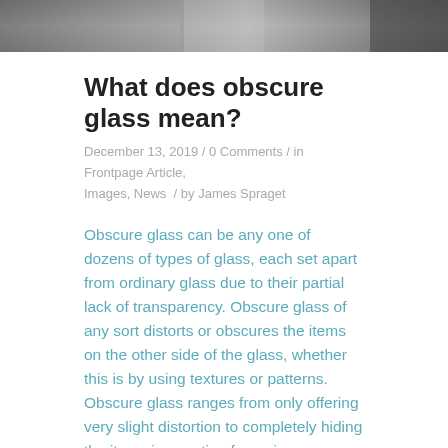[Figure (photo): Cropped top image strip showing obscure/frosted glass in grayscale tones]
What does obscure glass mean?
December 13, 2019 / 0 Comments / in Frontpage Article, Images, News / by James Spraget
Obscure glass can be any one of dozens of types of glass, each set apart from ordinary glass due to their partial lack of transparency. Obscure glass of any sort distorts or obscures the items on the other side of the glass, whether this is by using textures or patterns. Obscure glass ranges from only offering very slight distortion to completely hiding the items in question from view or revealing only silhouettes.
Perhaps our most common sort of obscure glass is float mat glass, which has been chemically treated to stop it from being transparent, while still allowing large amounts of light through. Immediately distinctive with its smooth,